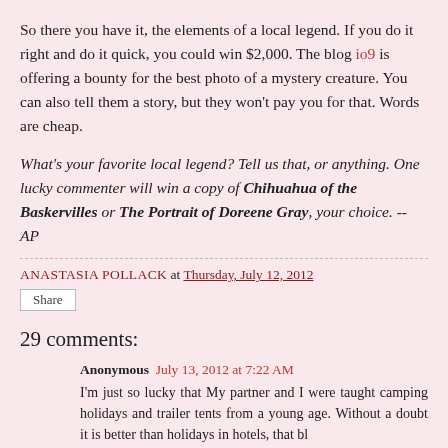So there you have it, the elements of a local legend. If you do it right and do it quick, you could win $2,000. The blog io9 is offering a bounty for the best photo of a mystery creature. You can also tell them a story, but they won't pay you for that. Words are cheap.
What's your favorite local legend? Tell us that, or anything. One lucky commenter will win a copy of Chihuahua of the Baskervilles or The Portrait of Doreene Gray, your choice. -- AP
ANASTASIA POLLACK at Thursday, July 12, 2012
Share
29 comments:
Anonymous July 13, 2012 at 7:22 AM
I'm just so lucky that My partner and I were taught camping holidays and trailer tents from a young age. Without a doubt it is better than holidays in hotels, that bl...